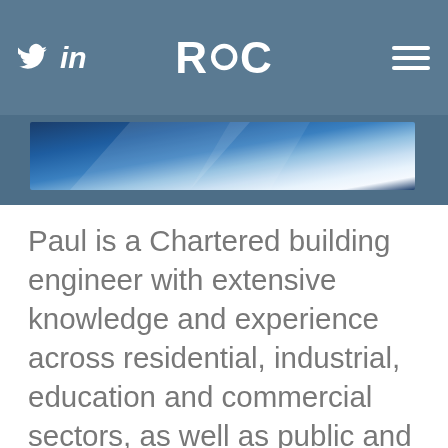RoC — Twitter, LinkedIn, hamburger menu navigation bar
[Figure (screenshot): Website header with blue/steel background, Twitter bird icon, LinkedIn 'in' text, centered RoC logo (with circular O), and hamburger menu icon on the right, plus a hero image band showing blue tones]
Paul is a Chartered building engineer with extensive knowledge and experience across residential, industrial, education and commercial sectors, as well as public and historic buildings.